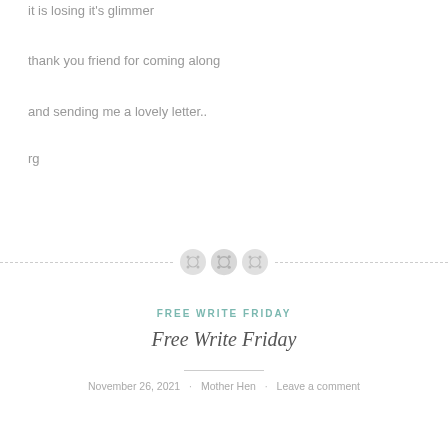it is losing it's glimmer
thank you friend for coming along
and sending me a lovely letter..
rg
[Figure (illustration): Decorative section divider with three button icons and dashed lines on either side]
FREE WRITE FRIDAY
Free Write Friday
November 26, 2021 · Mother Hen · Leave a comment